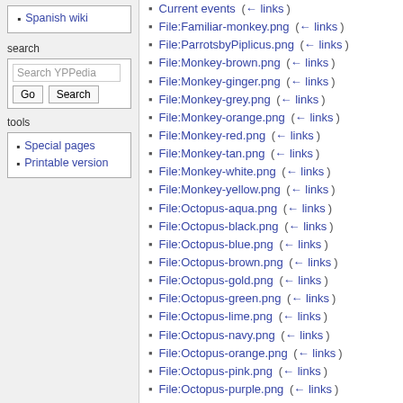Spanish wiki
search
Search YPPedia [Go] [Search]
tools
Special pages
Printable version
Current events  (← links)
File:Familiar-monkey.png  (← links)
File:ParrotsbyPiplicus.png  (← links)
File:Monkey-brown.png  (← links)
File:Monkey-ginger.png  (← links)
File:Monkey-grey.png  (← links)
File:Monkey-orange.png  (← links)
File:Monkey-red.png  (← links)
File:Monkey-tan.png  (← links)
File:Monkey-white.png  (← links)
File:Monkey-yellow.png  (← links)
File:Octopus-aqua.png  (← links)
File:Octopus-black.png  (← links)
File:Octopus-blue.png  (← links)
File:Octopus-brown.png  (← links)
File:Octopus-gold.png  (← links)
File:Octopus-green.png  (← links)
File:Octopus-lime.png  (← links)
File:Octopus-navy.png  (← links)
File:Octopus-orange.png  (← links)
File:Octopus-pink.png  (← links)
File:Octopus-purple.png  (← links)
File:Octopus-red.png  (← links)